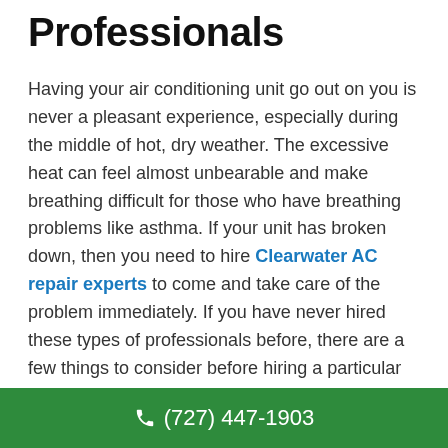Professionals
Having your air conditioning unit go out on you is never a pleasant experience, especially during the middle of hot, dry weather. The excessive heat can feel almost unbearable and make breathing difficult for those who have breathing problems like asthma. If your unit has broken down, then you need to hire Clearwater AC repair experts to come and take care of the problem immediately. If you have never hired these types of professionals before, there are a few things to consider before hiring a particular company.
One thing to keep in mind when hiring Clearwater air conditioning repair experts is your budget and their pricing. You want to make sure that the service you are
(727) 447-1903